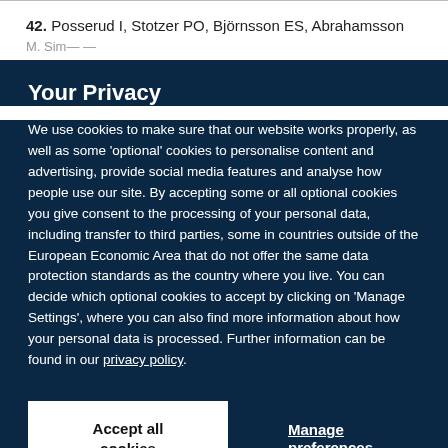42. Posserud I, Stotzer PO, Björnsson ES, Abrahamsson M. Sim...
Your Privacy
We use cookies to make sure that our website works properly, as well as some 'optional' cookies to personalise content and advertising, provide social media features and analyse how people use our site. By accepting some or all optional cookies you give consent to the processing of your personal data, including transfer to third parties, some in countries outside of the European Economic Area that do not offer the same data protection standards as the country where you live. You can decide which optional cookies to accept by clicking on 'Manage Settings', where you can also find more information about how your personal data is processed. Further information can be found in our privacy policy.
Accept all cookies
Manage preferences